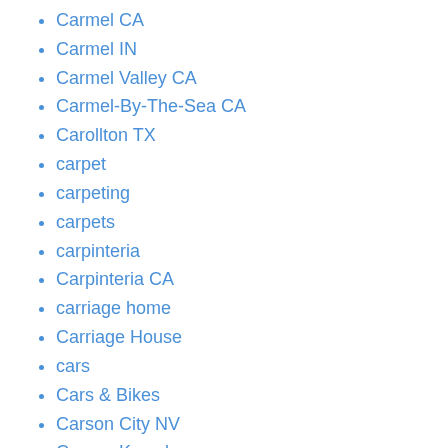Carmel CA
Carmel IN
Carmel Valley CA
Carmel-By-The-Sea CA
Carollton TX
carpet
carpeting
carpets
carpinteria
Carpinteria CA
carriage home
Carriage House
cars
Cars & Bikes
Carson City NV
Carson Kressley
Carter Oosterhouse
Cary NC
Casa Mami